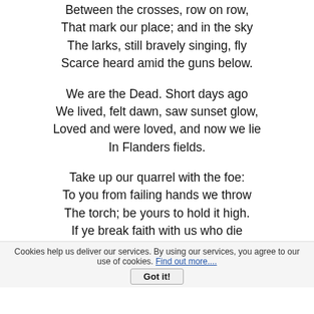Between the crosses, row on row,
That mark our place; and in the sky
The larks, still bravely singing, fly
Scarce heard amid the guns below.
We are the Dead. Short days ago
We lived, felt dawn, saw sunset glow,
Loved and were loved, and now we lie
In Flanders fields.
Take up our quarrel with the foe:
To you from failing hands we throw
The torch; be yours to hold it high.
If ye break faith with us who die
We shall not sleep, though poppies grow
In Flanders fields.
Cookies help us deliver our services. By using our services, you agree to our use of cookies. Find out more....
Got it!